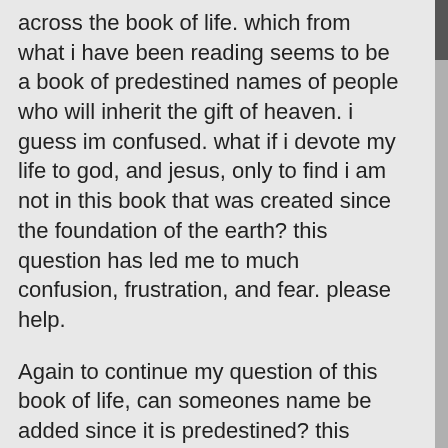across the book of life. which from what i have been reading seems to be a book of predestined names of people who will inherit the gift of heaven. i guess im confused. what if i devote my life to god, and jesus, only to find i am not in this book that was created since the foundation of the earth? this question has led me to much confusion, frustration, and fear. please help.
Again to continue my question of this book of life, can someones name be added since it is predestined? this concept alone, seems very frightening to me, that all along, i may not even be in it.
- Brandon